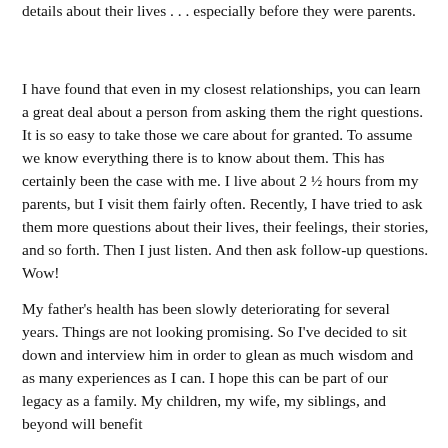details about their lives . . . especially before they were parents.
I have found that even in my closest relationships, you can learn a great deal about a person from asking them the right questions. It is so easy to take those we care about for granted. To assume we know everything there is to know about them. This has certainly been the case with me. I live about 2 ½ hours from my parents, but I visit them fairly often. Recently, I have tried to ask them more questions about their lives, their feelings, their stories, and so forth. Then I just listen. And then ask follow-up questions. Wow!
My father's health has been slowly deteriorating for several years. Things are not looking promising. So I've decided to sit down and interview him in order to glean as much wisdom and as many experiences as I can. I hope this can be part of our legacy as a family. My children, my wife, my siblings, and beyond will benefit